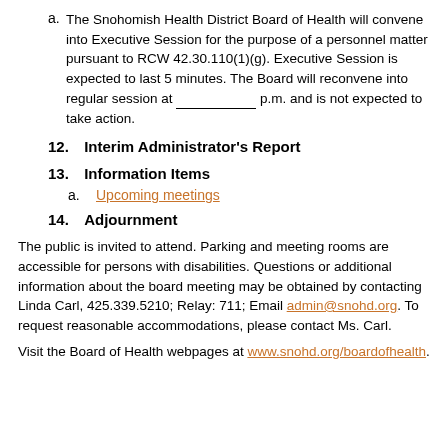a. The Snohomish Health District Board of Health will convene into Executive Session for the purpose of a personnel matter pursuant to RCW 42.30.110(1)(g). Executive Session is expected to last 5 minutes. The Board will reconvene into regular session at __________ p.m. and is not expected to take action.
12. Interim Administrator's Report
13. Information Items
a. Upcoming meetings
14. Adjournment
The public is invited to attend. Parking and meeting rooms are accessible for persons with disabilities. Questions or additional information about the board meeting may be obtained by contacting Linda Carl, 425.339.5210; Relay: 711; Email admin@snohd.org. To request reasonable accommodations, please contact Ms. Carl.
Visit the Board of Health webpages at www.snohd.org/boardofhealth.